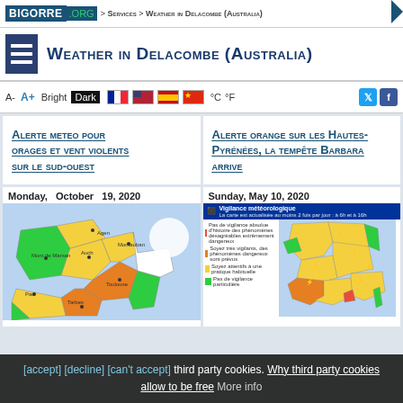BIGORRE .ORG > Services > Weather in Delacombe (Australia)
Weather in Delacombe (Australia)
A- A+ Bright Dark °C °F
Alerte meteo pour orages et vent violents sur le sud-ouest
Alerte orange sur les Hautes-Pyrénées, la tempête Barbara arrive
Monday, October 19, 2020
[Figure (map): Weather vigilance map of southwest France showing meteorological alerts in orange and yellow regions]
Sunday, May 10, 2020
[Figure (map): Vigilance météorologique map of France showing yellow and orange alert regions with legend]
[accept] [decline] [can't accept] third party cookies. Why third party cookies allow to be free More info